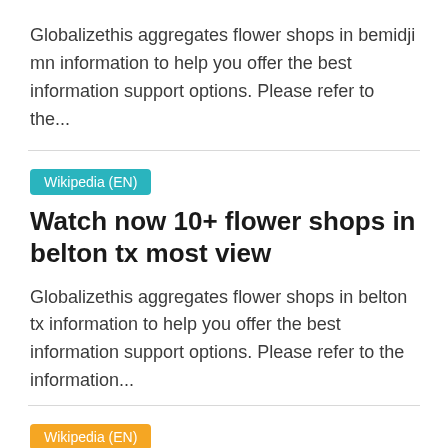Globalizethis aggregates flower shops in bemidji mn information to help you offer the best information support options. Please refer to the...
Wikipedia (EN)
Watch now 10+ flower shops in belton tx most view
Globalizethis aggregates flower shops in belton tx information to help you offer the best information support options. Please refer to the information...
Wikipedia (EN)
Watch now 10+ flower